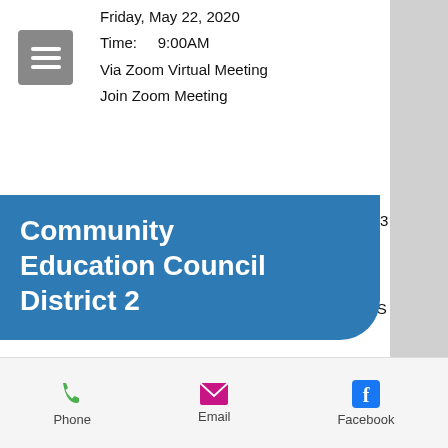Friday, May 22, 2020
Time:   9:00AM
Via Zoom Virtual Meeting
Join Zoom Meeting
Community Education Council District 2
Meeting ID: 828 7895 7549
Passw   18
One t...
+164  32878959349#,,1#,757888# US (New York)
+  62  9,,78959349#,,1#,757888# US (Chicago)
[Figure (logo): NYC Community Education Council District 2 official seal]
[Figure (logo): Facebook logo icon (blue)]
[Figure (logo): Twitter logo icon (blue)]
[Figure (logo): YouTube logo icon (red)]
Phone   Email   Facebook